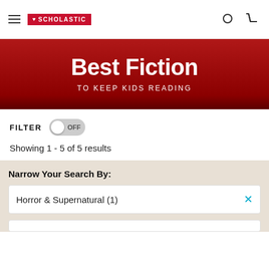SCHOLASTIC
Best Fiction
TO KEEP KIDS READING
FILTER OFF
Showing 1 - 5 of 5 results
Narrow Your Search By:
Horror & Supernatural (1)